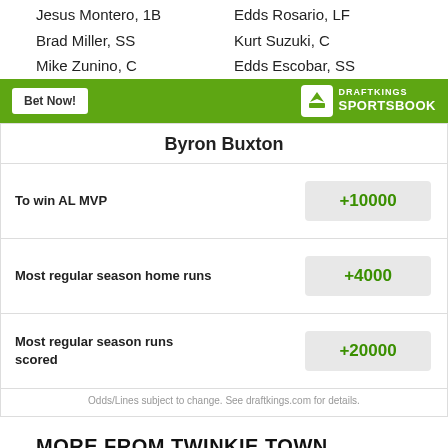Jesus Montero, 1B
Brad Miller, SS
Mike Zunino, C
Edds Rosario, LF
Kurt Suzuki, C
Edds Escobar, SS
[Figure (logo): DraftKings Sportsbook banner with Bet Now! button and DraftKings logo]
| Byron Buxton |  |
| --- | --- |
| To win AL MVP | +10000 |
| Most regular season home runs | +4000 |
| Most regular season runs scored | +20000 |
Odds/Lines subject to change. See draftkings.com for details.
MORE FROM TWINKIE TOWN